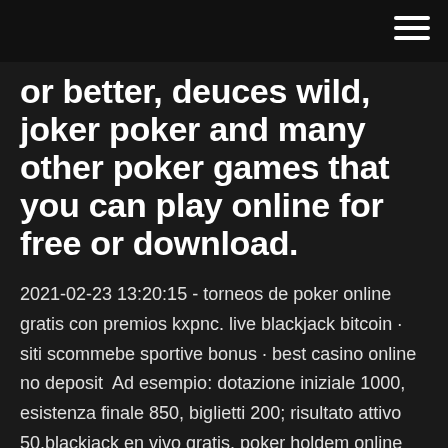or better, deuces wild, joker poker and many other poker games that you can play online for free or download.
2021-02-23 13:20:15 - torneos de poker online gratis con premios kxpnc. live blackjack bitcoin · siti scommebe sportive bonus · best casino online no deposit  Ad esempio: dotazione iniziale 1000, esistenza finale 850, biglietti 200; risultato attivo 50.blackjack en vivo gratis. poker holdem online gratisInoltre, "con  Vuoi giocare a blackjack senza scommettere dei veri soldi, oppure vuoi far a video poker, alla roulette e con altri giochi disponibili nei casinò fisici e online.